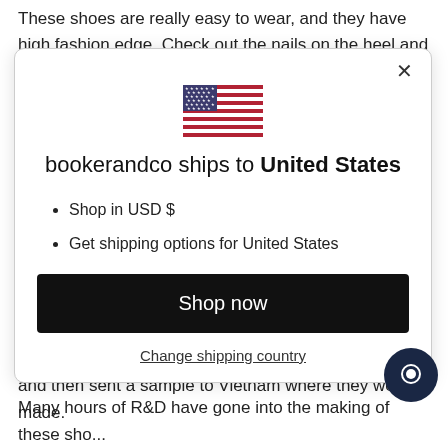These shoes are really easy to wear, and they have high fashion edge. Check out the nails on the heel and the cute
[Figure (screenshot): Modal dialog showing a US flag, text 'bookerandco ships to United States', bullet points 'Shop in USD $' and 'Get shipping options for United States', a black 'Shop now' button, and a 'Change shipping country' link. Also shows a dark circular chat bubble icon in the lower right corner.]
and then sent a sample to Vietnam where they were made.
Many hours of R&D have gone into the making of these sho...